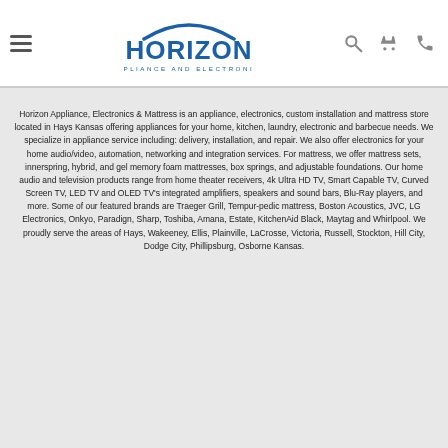[Figure (logo): Horizon Appliance and Electronics logo — blue arc over bold blue HORIZON text, with APPLIANCE AND ELECTRONICS subtitle below]
Horizon Appliance, Electronics & Mattress is an appliance, electronics, custom installation and mattress store located in Hays Kansas offering appliances for your home, kitchen, laundry, electronic and barbecue needs. We specialize in appliance service including: delivery, installation, and repair. We also offer electronics for your home audio/video, automation, networking and integration services. For mattress, we offer mattress sets, innerspring, hybrid, and gel memory foam mattresses, box springs, and adjustable foundations. Our home audio and television products range from home theater receivers, 4k Ultra HD TV, Smart Capable TV, Curved Screen TV, LED TV and OLED TV's integrated amplifiers, speakers and sound bars, Blu-Ray players, and more. Some of our featured brands are Traeger Grill, Tempur-pedic mattress, Boston Acoustics, JVC, LG Electronics, Onkyo, Paradign, Sharp, Toshiba, Amana, Estate, KitchenAid Black, Maytag and Whirlpool. We proudly serve the areas of Hays, Wakeeney, Ellis, Plainville, LaCrosse, Victoria, Russell, Stockton, Hill City, Dodge City, Phillipsburg, Osborne Kansas.